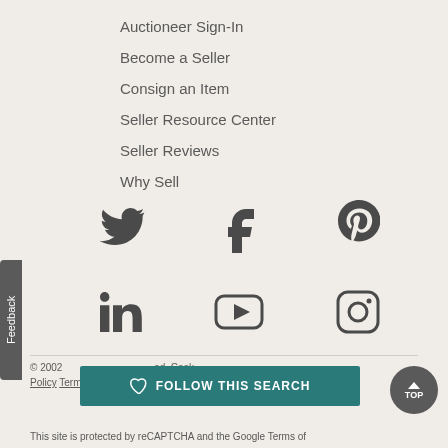Auctioneer Sign-In
Become a Seller
Consign an Item
Seller Resource Center
Seller Reviews
Why Sell
[Figure (other): Social media icons: Twitter, Facebook, Pinterest, LinkedIn, YouTube, Instagram]
© 2002 ... reserved. Cookie Policy Terms ... acy Policy
This site is protected by reCAPTCHA and the Google Terms of